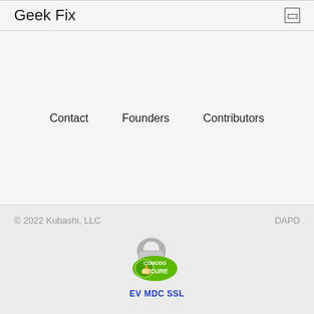Geek Fix
Contact
Founders
Contributors
© 2022 Kubashi, LLC   DAPD
[Figure (logo): Comodo Secure SSL badge with padlock and thumbs-up icon]
EV MDC SSL